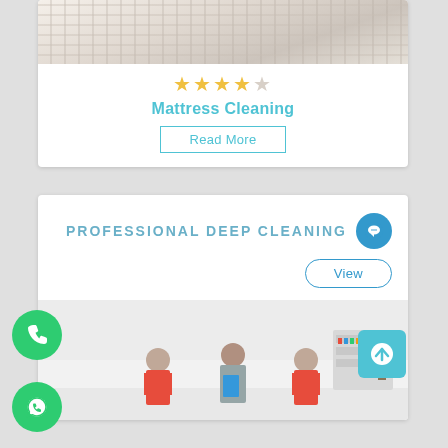[Figure (photo): Close-up photo of a white mattress surface with quilted texture]
★★★★☆
Mattress Cleaning
Read More
PROFESSIONAL DEEP CLEANING
View
[Figure (photo): Cleaning team of three people in red and teal aprons working in a bright white kitchen/room]
[Figure (illustration): Green circular phone call button]
[Figure (illustration): Green circular WhatsApp button]
[Figure (illustration): Blue circular chat icon button top right]
[Figure (illustration): Teal square scroll-to-top arrow button]